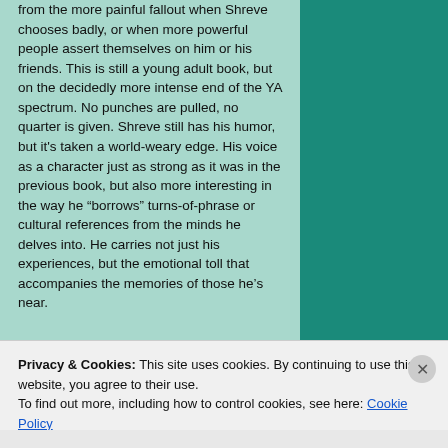from the more painful fallout when Shreve chooses badly, or when more powerful people assert themselves on him or his friends. This is still a young adult book, but on the decidedly more intense end of the YA spectrum. No punches are pulled, no quarter is given. Shreve still has his humor, but it's taken a world-weary edge. His voice as a character just as strong as it was in the previous book, but also more interesting in the way he “borrows” turns-of-phrase or cultural references from the minds he delves into. He carries not just his experiences, but the emotional toll that accompanies the memories of those he’s near.
Privacy & Cookies: This site uses cookies. By continuing to use this website, you agree to their use. To find out more, including how to control cookies, see here: Cookie Policy